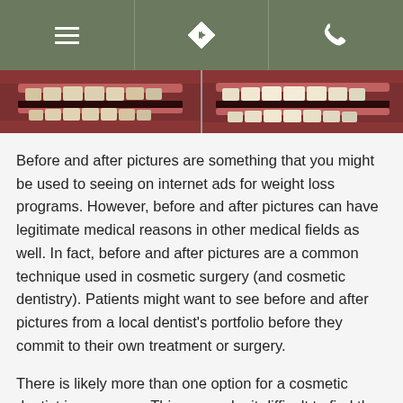[Navigation bar with menu, directions, and phone icons]
[Figure (photo): Two side-by-side dental before-and-after photos showing teeth/mouth closeups]
Before and after pictures are something that you might be used to seeing on internet ads for weight loss programs. However, before and after pictures can have legitimate medical reasons in other medical fields as well. In fact, before and after pictures are a common technique used in cosmetic surgery (and cosmetic dentistry). Patients might want to see before and after pictures from a local dentist's portfolio before they commit to their own treatment or surgery.
There is likely more than one option for a cosmetic dentist in your area. This can make it difficult to find the best local cosmetic dentist for you. This is where before and after pictures are useful for both the cosmetic dentist and their